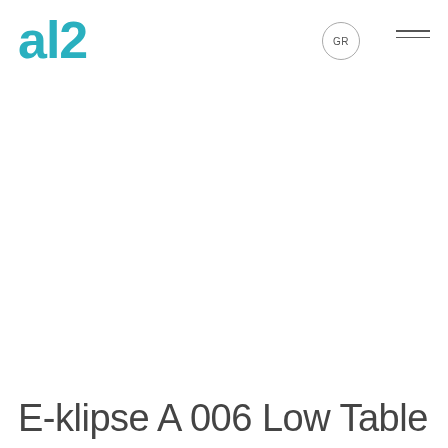al2 GR
E-klipse A 006 Low Table